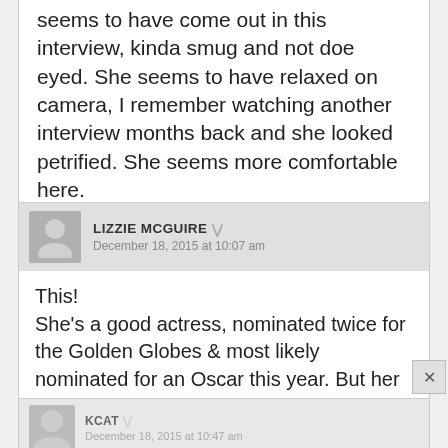seems to have come out in this interview, kinda smug and not doe eyed. She seems to have relaxed on camera, I remember watching another interview months back and she looked petrified. She seems more comfortable here.
LIZZIE MCGUIRE
December 18, 2015 at 10:07 am
This!
She's a good actress, nominated twice for the Golden Globes & most likely nominated for an Oscar this year. But her PR team is making it all about Fassy, & she doesn't need it. I like her in this interview & she does seem more comfortable.
KCAT
December 18, 2015 at 10:47 am